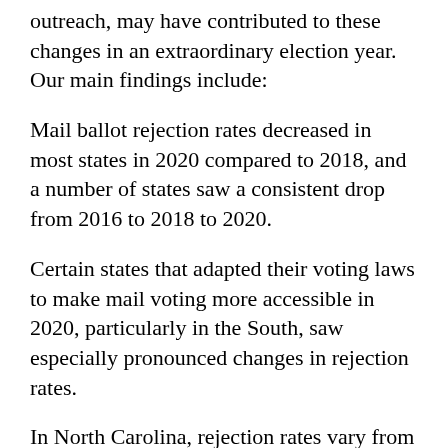outreach, may have contributed to these changes in an extraordinary election year. Our main findings include:
Mail ballot rejection rates decreased in most states in 2020 compared to 2018, and a number of states saw a consistent drop from 2016 to 2018 to 2020.
Certain states that adapted their voting laws to make mail voting more accessible in 2020, particularly in the South, saw especially pronounced changes in rejection rates.
In North Carolina, rejection rates vary from county to county. Previous studies of other states' rejection rates found similar trends.
States that implemented mail ballot policies, including ballot curing, increased ease of access